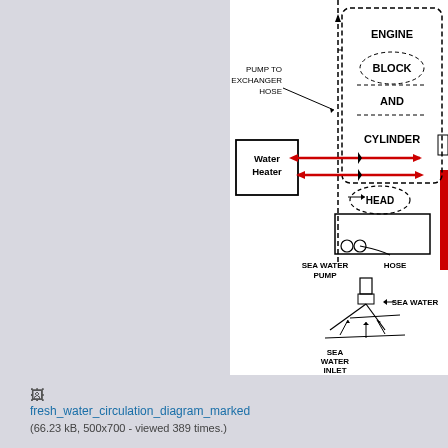[Figure (engineering-diagram): Fresh water circulation diagram showing engine block, cylinder head, water heater, sea water pump, sea water inlet with flow arrows (red arrows for hot/cold water flow through water heater). Labels include: ENGINE BLOCK AND CYLINDER, Water Heater, PUMP TO EXCHANGER HOSE, SEA WATER PUMP, HOSE, SEA WATER, SEA WATER INLET.]
fresh_water_circulation_diagram_marked
(66.23 kB, 500x700 - viewed 389 times.)